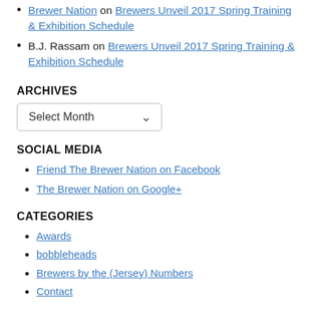Brewer Nation on Brewers Unveil 2017 Spring Training & Exhibition Schedule
B.J. Rassam on Brewers Unveil 2017 Spring Training & Exhibition Schedule
ARCHIVES
Select Month (dropdown)
SOCIAL MEDIA
Friend The Brewer Nation on Facebook
The Brewer Nation on Google+
CATEGORIES
Awards
bobbleheads
Brewers by the (Jersey) Numbers
Contact